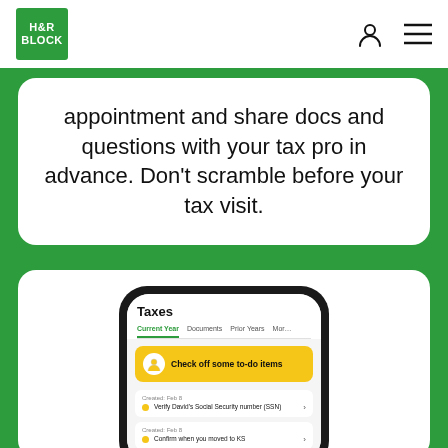[Figure (logo): H&R Block green logo]
appointment and share docs and questions with your tax pro in advance. Don't scramble before your tax visit.
[Figure (screenshot): Mobile app screenshot showing H&R Block Taxes app with 'Current Year', 'Documents', 'Prior Years' tabs, a yellow 'Check off some to-do items' card, and task items: 'Verify David's Social Security number (SSN)' and 'Confirm when you moved to KS']